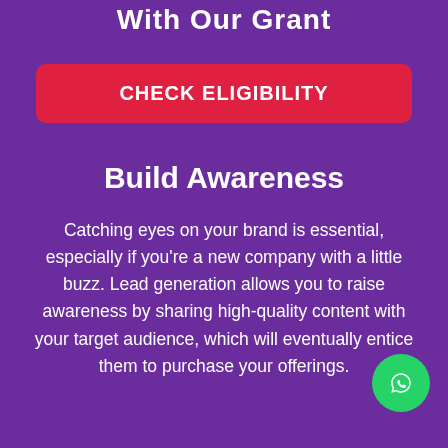With Our Grant
[Figure (other): Red button with text CHECK ELIGIBILITY]
Build Awareness
Catching eyes on your brand is essential, especially if you're a new company with a little buzz. Lead generation allows you to raise awareness by sharing high-quality content with your target audience, which will eventually entice them to purchase your offerings.
[Figure (other): Green circular WhatsApp icon button in bottom right corner]